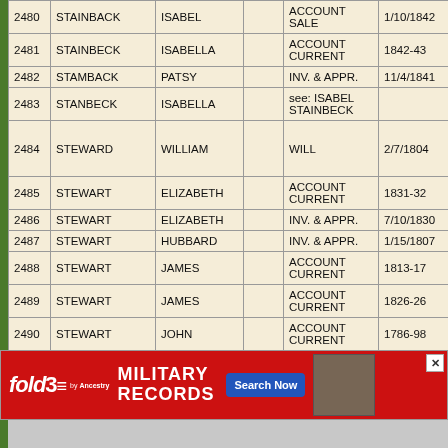| # | LAST NAME | FIRST NAME |  | TYPE | DATE | EXTRA |
| --- | --- | --- | --- | --- | --- | --- |
| 2480 | STAINBACK | ISABEL |  | ACCOUNT SALE | 1/10/1842 |  |
| 2481 | STAINBECK | ISABELLA |  | ACCOUNT CURRENT | 1842-43 | STE... |
| 2482 | STAMBACK | PATSY |  | INV. & APPR. | 11/4/1841 |  |
| 2483 | STANBECK | ISABELLA |  | see: ISABEL STAINBECK |  |  |
| 2484 | STEWARD | WILLIAM |  | WILL | 2/7/1804 |  |
| 2485 | STEWART | ELIZABETH |  | ACCOUNT CURRENT | 1831-32 | BUR... |
| 2486 | STEWART | ELIZABETH |  | INV. & APPR. | 7/10/1830 |  |
| 2487 | STEWART | HUBBARD |  | INV. & APPR. | 1/15/1807 |  |
| 2488 | STEWART | JAMES |  | ACCOUNT CURRENT | 1813-17 | COC... |
| 2489 | STEWART | JAMES |  | ACCOUNT CURRENT | 1826-26 | EDW... |
| 2490 | STEWART | JOHN |  | ACCOUNT CURRENT | 1786-98 |  |
| 2491 | ST... |  |  |  |  | BAG... |